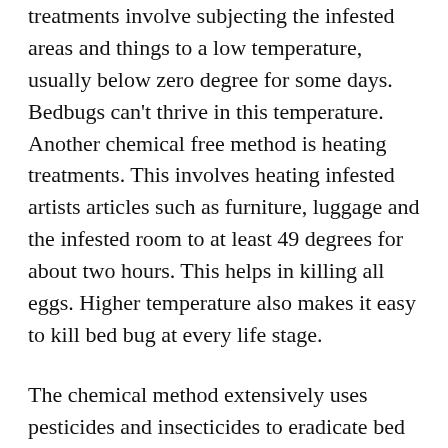treatments involve subjecting the infested areas and things to a low temperature, usually below zero degree for some days. Bedbugs can't thrive in this temperature. Another chemical free method is heating treatments. This involves heating infested artists articles such as furniture, luggage and the infested room to at least 49 degrees for about two hours. This helps in killing all eggs. Higher temperature also makes it easy to kill bed bug at every life stage.
The chemical method extensively uses pesticides and insecticides to eradicate bed bugs. Consult a pest management professional who will inspect hour residence and advice you on the appropriate and approved chemical you should use. Take care when handling these chemicals. Some are toxic and flammable. Spray all hiding and accessible places, close the room and stay outside for about two hours. You can also use powdered pesticide and spill it in the areas harbored by